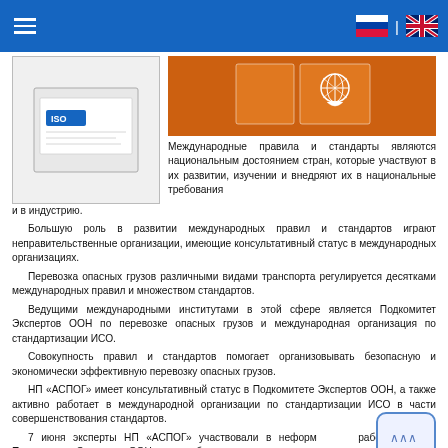≡  [RU flag] | [UK flag]
[Figure (photo): Left: ISO document/book cover image. Right: Orange UN hazmat boxes with UN logo.]
Международные правила и стандарты являются национальным достоянием стран, которые участвуют в их развитии, изучении и внедряют их в национальные требования и в индустрию.
Большую роль в развитии международных правил и стандартов играют неправительственные организации, имеющие консультативный статус в международных организациях.
Перевозка опасных грузов различными видами транспорта регулируется десятками международных правил и множеством стандартов.
Ведущими международными институтами в этой сфере является Подкомитет Экспертов ООН по перевозке опасных грузов и международная организация по стандартизации ИСО.
Совокупность правил и стандартов помогает организовывать безопасную и экономически эффективную перевозку опасных грузов.
НП «АСПОГ» имеет консультативный статус в Подкомитете Экспертов ООН, а также активно работает в международной организации по стандартизации ИСО в части совершенствования стандартов.
7 июня эксперты НП «АСПОГ» участвовали в неформальной рабочей группе Подкомитета Экспертов ООН по разработке новых